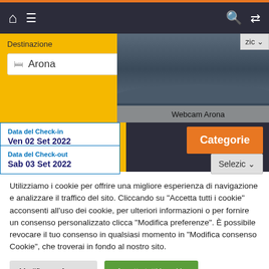[Figure (screenshot): Website navigation bar with home icon, hamburger menu, search icon, shuffle icon on dark background with orange top bar]
[Figure (screenshot): Hotel booking widget with yellow panel showing Destinazione/Arona, webcam image of Arona, check-in date Ven 02 Set 2022, check-out date Sab 03 Set 2022, Categorie orange button, Selezio dropdown]
Utilizziamo i cookie per offrire una migliore esperienza di navigazione e analizzare il traffico del sito. Cliccando su "Accetta tutti i cookie" acconsenti all'uso dei cookie, per ulteriori informazioni o per fornire un consenso personalizzato clicca "Modifica preferenze". È possibile revocare il tuo consenso in qualsiasi momento in "Modifica consenso Cookie", che troverai in fondo al nostro sito.
Modifica preferenze
Accetta tutti i cookie